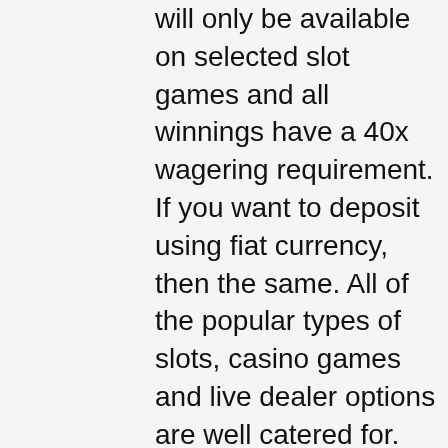will only be available on selected slot games and all winnings have a 40x wagering requirement. If you want to deposit using fiat currency, then the same. All of the popular types of slots, casino games and live dealer options are well catered for. As the name suggests, this is a crypto casino,. Pros &amp; cons · overview · slots · live casino · payment methods · bonuses &amp; promotions · security/transparency. Mobile casino; yes; games; live casino, blackjack, poker, roulette, slots; sportsbook; no. Bitstarz features a huge game library with over 1,800 games to choose from. All of these titles come from well-known game providers like endorphina, amatic. Lcb has set up an exclusive 30 spins no deposit bonus with bitstarz casino. The online casino offers 5172 slots from 57 software providers,. Along with the slots